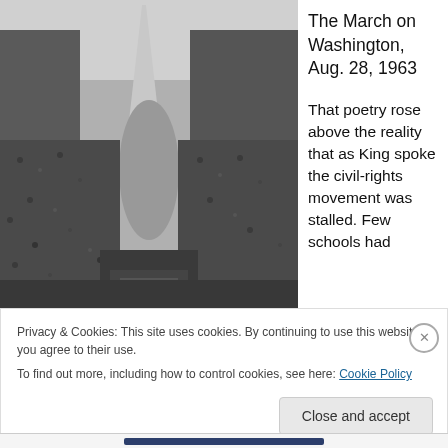[Figure (photo): Black and white aerial photograph of the March on Washington, August 28, 1963, showing massive crowd gathered along the National Mall Reflecting Pool with the Washington Monument in the background.]
The March on Washington, Aug. 28, 1963
That poetry rose above the reality that as King spoke the civil-rights movement was stalled. Few schools had
Privacy & Cookies: This site uses cookies. By continuing to use this website, you agree to their use.
To find out more, including how to control cookies, see here: Cookie Policy
Close and accept